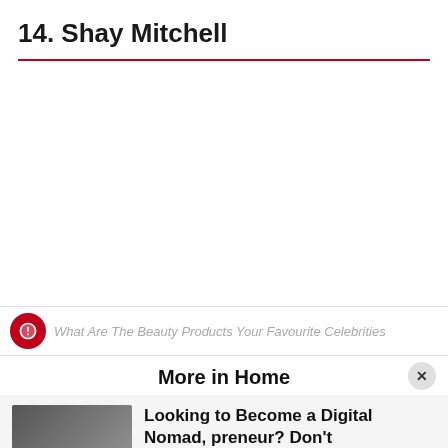14. Shay Mitchell
[Figure (other): Large blank white image placeholder area below the title and red divider line]
What Are The Beauty Products Your Favourite Celebrities
More in Home
Looking to Become a Digital Nomad, preneur? Don't